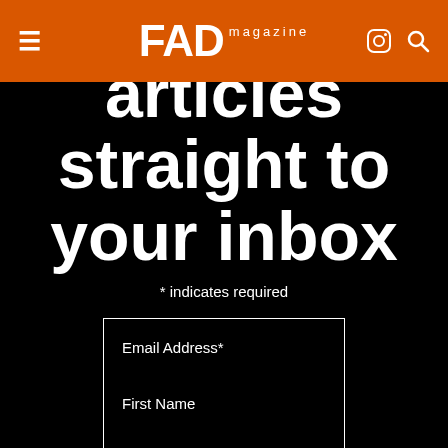FAD magazine
articles straight to your inbox
* indicates required
Email Address*
First Name
Last Name
Subscribe